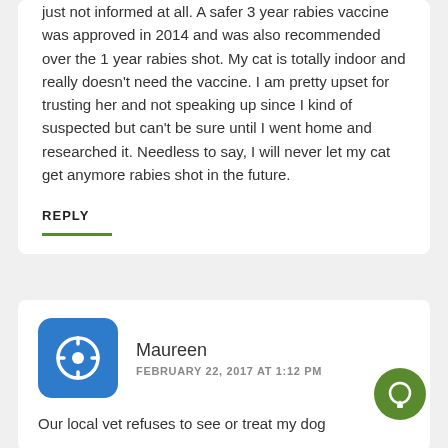just not informed at all. A safer 3 year rabies vaccine was approved in 2014 and was also recommended over the 1 year rabies shot. My cat is totally indoor and really doesn't need the vaccine. I am pretty upset for trusting her and not speaking up since I kind of suspected but can't be sure until I went home and researched it. Needless to say, I will never let my cat get anymore rabies shot in the future.
REPLY
Maureen
FEBRUARY 22, 2017 AT 1:12 PM
Our local vet refuses to see or treat my dog